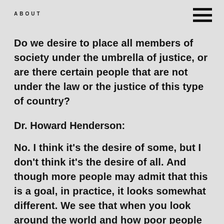ABOUT
Do we desire to place all members of society under the umbrella of justice, or are there certain people that are not under the law or the justice of this type of country?
Dr. Howard Henderson:
No. I think it's the desire of some, but I don't think it's the desire of all. And though more people may admit that this is a goal, in practice, it looks somewhat different. We see that when you look around the world and how poor people are processed through the criminal justice